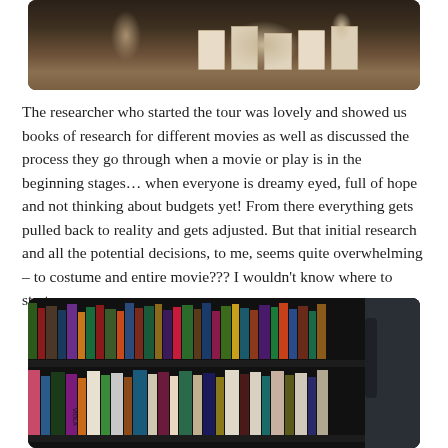[Figure (photo): Top portion of a photo showing a room interior with boxes or white bins on shelves and various items on a surface, dark/brown toned interior]
The researcher who started the tour was lovely and showed us books of research for different movies as well as discussed the process they go through when a movie or play is in the beginning stages… when everyone is dreamy eyed, full of hope and not thinking about budgets yet! From there everything gets pulled back to reality and gets adjusted. But that initial research and all the potential decisions, to me, seems quite overwhelming – to costume and entire movie??? I wouldn't know where to start.
[Figure (photo): Photo of a bookshelf showing two rows of books of various colors and sizes, with a dark grey panel visible on the right side. Books include visible spines with various titles.]